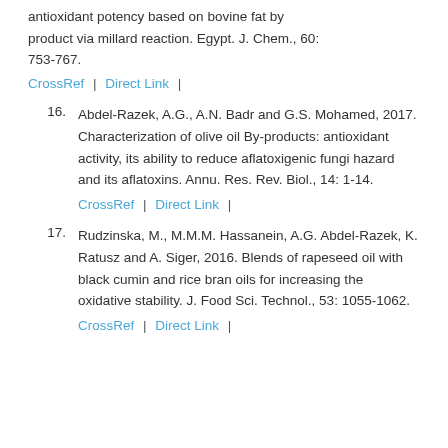antioxidant potency based on bovine fat by product via millard reaction. Egypt. J. Chem., 60: 753-767.
CrossRef | Direct Link |
16. Abdel-Razek, A.G., A.N. Badr and G.S. Mohamed, 2017. Characterization of olive oil By-products: antioxidant activity, its ability to reduce aflatoxigenic fungi hazard and its aflatoxins. Annu. Res. Rev. Biol., 14: 1-14.
CrossRef | Direct Link |
17. Rudzinska, M., M.M.M. Hassanein, A.G. Abdel-Razek, K. Ratusz and A. Siger, 2016. Blends of rapeseed oil with black cumin and rice bran oils for increasing the oxidative stability. J. Food Sci. Technol., 53: 1055-1062.
CrossRef | Direct Link |